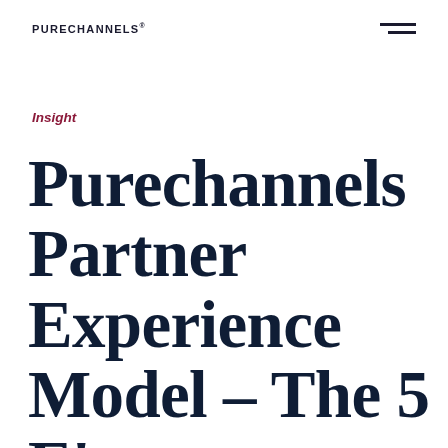PURECHANNELS®
Insight
Purechannels Partner Experience Model – The 5 E's.